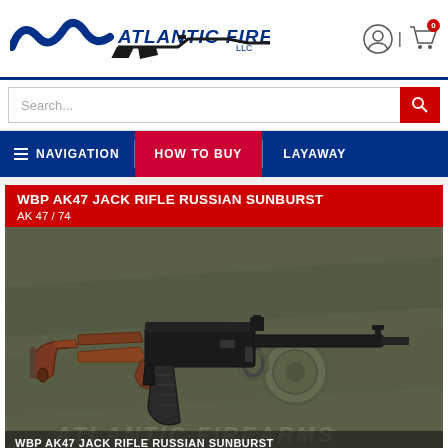[Figure (logo): Atlantic Firearms logo with blue wave and text, plus AK rifle silhouette]
Search...
NAVIGATION | HOW TO BUY | LAYAWAY
WBP AK47 JACK RIFLE RUSSIAN SUNBURST
AK 47 / 74
[Figure (photo): WBP AK47 Jack Rifle Russian Sunburst with red/brown wood furniture, black metal parts, lying on green military metal surface with chain hook visible]
WBP AK47 JACK RIFLE RUSSIAN SUNBURST